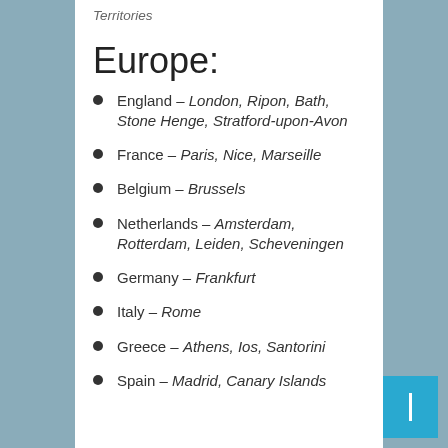Territories
Europe:
England – London, Ripon, Bath, Stone Henge, Stratford-upon-Avon
France – Paris, Nice, Marseille
Belgium – Brussels
Netherlands – Amsterdam, Rotterdam, Leiden, Scheveningen
Germany – Frankfurt
Italy – Rome
Greece – Athens, Ios, Santorini
Spain – Madrid, Canary Islands